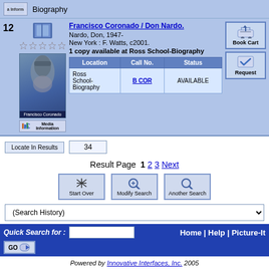Biography
12 Francisco Coronado / Don Nardo. Nardo, Don, 1947- New York : F. Watts, c2001. 1 copy available at Ross School-Biography
| Location | Call No. | Status |
| --- | --- | --- |
| Ross School-Biography | B COR | AVAILABLE |
Locate In Results  34
Result Page  1  2  3  Next
Start Over   Modify Search   Another Search
(Search History)
Quick Search for :
Home | Help | Picture-It
Powered by Innovative Interfaces, Inc. 2005